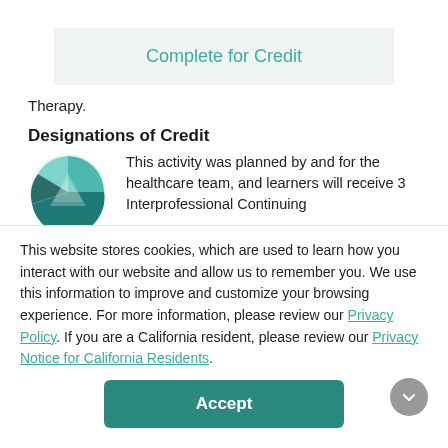Complete for Credit
Therapy.
Designations of Credit
[Figure (logo): Circular logo with teal and dark teal segments forming a pie-like design with a triangle/arrow in the center]
This activity was planned by and for the healthcare team, and learners will receive 3 Interprofessional Continuing
This website stores cookies, which are used to learn how you interact with our website and allow us to remember you. We use this information to improve and customize your browsing experience. For more information, please review our Privacy Policy. If you are a California resident, please review our Privacy Notice for California Residents.
3 AMA credit ctivity. NCC n our(s). hours cation
Accept
activity for 1 NBCC clock hour(s). Social workers participating in